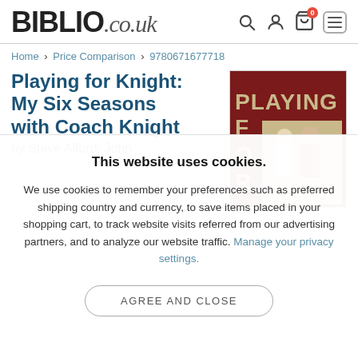BIBLIO.co.uk
Home > Price Comparison > 9780671677718
Playing for Knight: My Six Seasons with Coach Knight
by Steve Alford: John
[Figure (photo): Book cover for Playing for Knight showing the word PLAYING in large beige letters on a dark red background, with a photo of players and a coach below.]
This website uses cookies.
We use cookies to remember your preferences such as preferred shipping country and currency, to save items placed in your shopping cart, to track website visits referred from our advertising partners, and to analyze our website traffic. Manage your privacy settings.
AGREE AND CLOSE